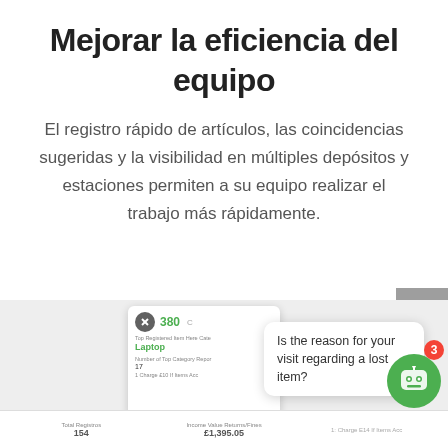Mejorar la eficiencia del equipo
El registro rápido de artículos, las coincidencias sugeridas y la visibilidad en múltiples depósitos y estaciones permiten a su equipo realizar el trabajo más rápidamente.
[Figure (screenshot): A UI screenshot showing a registration card with number 380, a laptop item label in green, and a bottom data bar with columns showing 'Total Registros 154' and 'Income Value Returns/Fines £1,395.05'. A chat bubble overlay reads 'Is the reason for your visit regarding a lost item?' with a green robot chatbot avatar with a notification badge showing 3.]